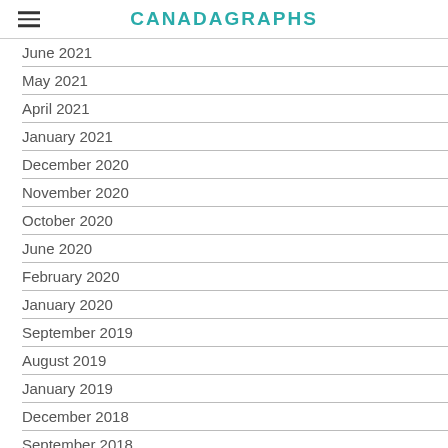CANADAGRAPHS
June 2021
May 2021
April 2021
January 2021
December 2020
November 2020
October 2020
June 2020
February 2020
January 2020
September 2019
August 2019
January 2019
December 2018
September 2018